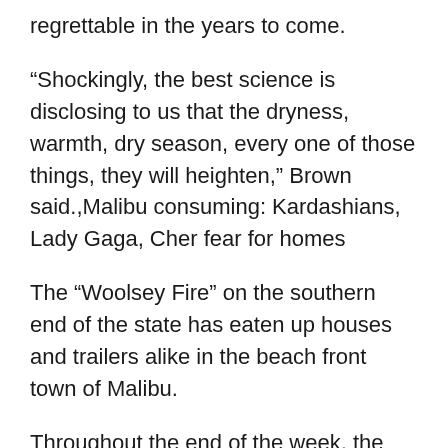regrettable in the years to come.
“Shockingly, the best science is disclosing to us that the dryness, warmth, dry season, every one of those things, they will heighten,” Brown said.,Malibu consuming: Kardashians, Lady Gaga, Cher fear for homes
The “Woolsey Fire” on the southern end of the state has eaten up houses and trailers alike in the beach front town of Malibu.
Throughout the end of the week, the “Woolsey Fire” immersed parts of Thousand Oaks, where a Marine Corps veteran shot dead 12 individuals in a blue grass music bar on Wednesday.
Among the individuals who lost their homes was the pop star Miley Cyrus, who tweeted that her “home